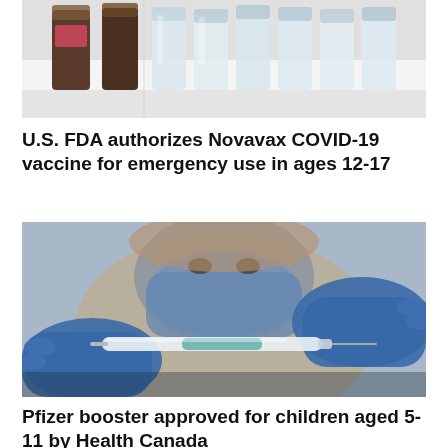[Figure (photo): Close-up photo of medical vials and bottles in a white tray/box, likely vaccine vials]
U.S. FDA authorizes Novavax COVID-19 vaccine for emergency use in ages 12-17
[Figure (photo): Healthcare worker wearing a blue surgical mask and blue latex gloves preparing a vaccine syringe/injection]
Pfizer booster approved for children aged 5-11 by Health Canada